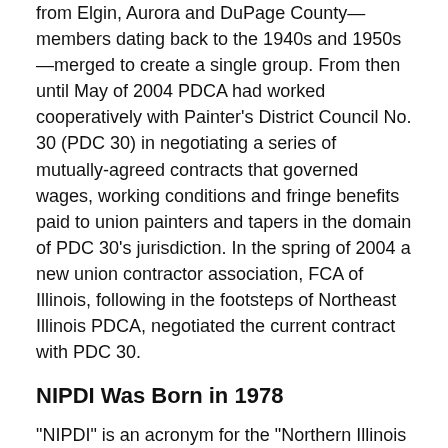from Elgin, Aurora and DuPage County—members dating back to the 1940s and 1950s—merged to create a single group. From then until May of 2004 PDCA had worked cooperatively with Painter's District Council No. 30 (PDC 30) in negotiating a series of mutually-agreed contracts that governed wages, working conditions and fringe benefits paid to union painters and tapers in the domain of PDC 30's jurisdiction. In the spring of 2004 a new union contractor association, FCA of Illinois, following in the footsteps of Northeast Illinois PDCA, negotiated the current contract with PDC 30.
NIPDI Was Born in 1978
"NIPDI" is an acronym for the "Northern Illinois Painting and Drywall Institute". NIPDI is termed an "industry advancement fund". It was established in 1978 to promote painting and drywall finishing, provide educational services to contractors and develop professionalism among its members.
NIPDI is a trust fund overseen by an elected board of contractor trustees. It was created through a collective bargaining agreement forged between PDCA and Painters